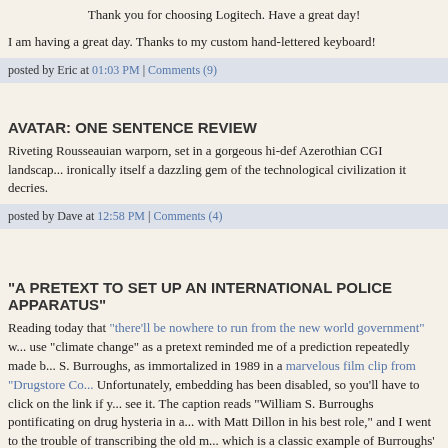Thank you for choosing Logitech. Have a great day!
I am having a great day. Thanks to my custom hand-lettered keyboard!
posted by Eric at 01:03 PM | Comments (9)
AVATAR: ONE SENTENCE REVIEW
Riveting Rousseauian warporn, set in a gorgeous hi-def Azerothian CGI landscape, ironically itself a dazzling gem of the technological civilization it decries.
posted by Dave at 12:58 PM | Comments (4)
"A PRETEXT TO SET UP AN INTERNATIONAL POLICE APPARATUS"
Reading today that "there'll be nowhere to run from the new world government" w... use "climate change" as a pretext reminded me of a prediction repeatedly made b... S. Burroughs, as immortalized in 1989 in a marvelous film clip from "Drugstore Co... Unfortunately, embedding has been disabled, so you'll have to click on the link if y... see it. The caption reads "William S. Burroughs pontificating on drug hysteria in a... with Matt Dillon in his best role," and I went to the trouble of transcribing the old m... which is a classic example of Burroughs' eloquently bitter but cynically resigned, c... style of speech.
Narcotics have been systematically scapegoated and demonized. The ide... that anyone can use drugs and escape a horrible fate is anathema to thes... idiots.